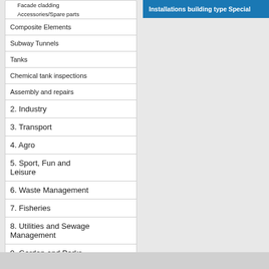Facade cladding
Accessories/Spare parts
Composite Elements
Subway Tunnels
Tanks
Chemical tank inspections
Assembly and repairs
2. Industry
3. Transport
4. Agro
5. Sport, Fun and Leisure
6. Waste Management
7. Fisheries
8. Utilities and Sewage Management
9. Garden and Parks
Installations building type Special